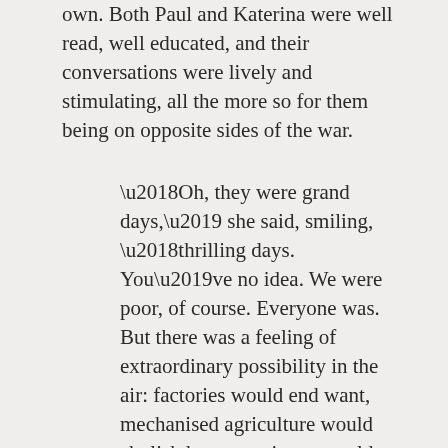own. Both Paul and Katerina were well read, well educated, and their conversations were lively and stimulating, all the more so for them being on opposite sides of the war.
‘Oh, they were grand days,’ she said, smiling, ‘thrilling days. You’ve no idea. We were poor, of course. Everyone was. But there was a feeling of extraordinary possibility in the air: factories would end want, mechanised agriculture would abolish hunger, science would conquer disease. People would be free to work as they pleased, love as they pleased. Some of this we even accomplished. Homosexuality was made legal, though that was later reversed. And literacy – there’s one